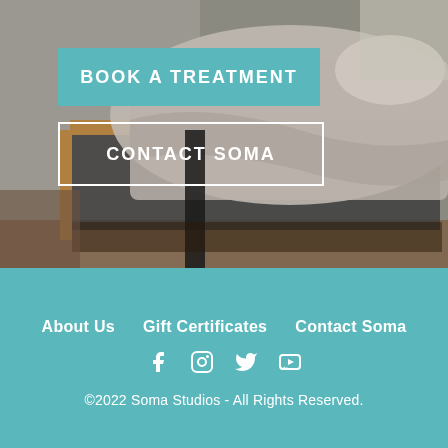[Figure (photo): Spa/massage treatment room with a treatment table covered in grey linen sheets, wooden frame, grey concrete wall in background, natural light from window]
BOOK A TREATMENT
CONTACT SOMA
About Us   Gift Certificates   Contact Soma
©2022 Soma Studios - All Rights Reserved.